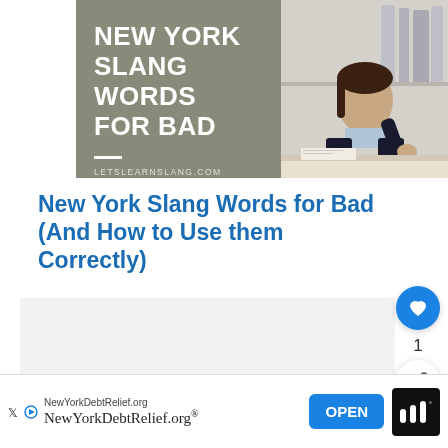[Figure (photo): Banner image with gray-green background on the left showing bold white text 'NEW YORK SLANG WORDS FOR BAD' and website URL 'LETSLEARNSLANG.COM', and on the right a photo of a businesswoman in a dark suit giving a thumbs down gesture at a desk]
New York Slang Words for Bad (And How to Use them Correctly)
[Figure (infographic): Social share sidebar with heart/like button showing count of 1, and a share button]
[Figure (screenshot): Light gray content area placeholder]
[Figure (infographic): What's Next widget showing thumbnail and text '130+ New York Slang Words...']
[Figure (infographic): Advertisement banner at bottom for NewYorkDebtRelief.org with OPEN button]